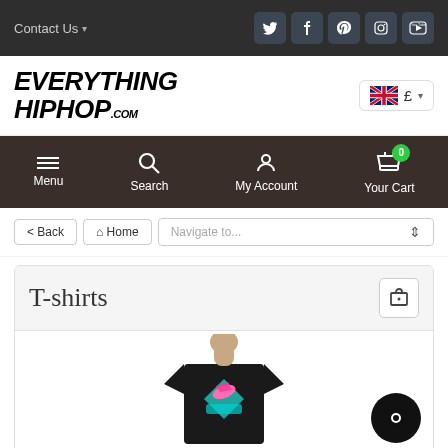Contact Us | Social icons: Twitter, Facebook, Pinterest, Instagram, YouTube
[Figure (logo): EverythingHipHop.com logo in bold italic black text]
[Figure (other): UK flag with GBP currency selector]
[Figure (screenshot): Navigation bar with Menu, Search, My Account, Your Cart (0 items)]
< Back | Home | Navigate to...
T-shirts
[Figure (photo): Person wearing a black t-shirt with pink dolphin and diamond graphic design (Everything Hiphop brand)]
[Figure (other): Chat support bubble icon in bottom right]